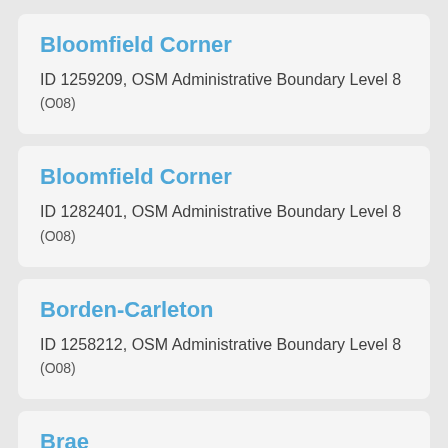Bloomfield Corner
ID 1259209, OSM Administrative Boundary Level 8 (O08)
Bloomfield Corner
ID 1282401, OSM Administrative Boundary Level 8 (O08)
Borden-Carleton
ID 1258212, OSM Administrative Boundary Level 8 (O08)
Brae